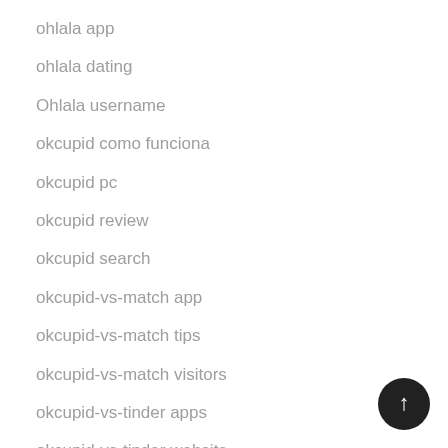ohlala app
ohlala dating
Ohlala username
okcupid como funciona
okcupid pc
okcupid review
okcupid search
okcupid-vs-match app
okcupid-vs-match tips
okcupid-vs-match visitors
okcupid-vs-tinder apps
okcupid-vs-tinder website
Oklahoma payday loans